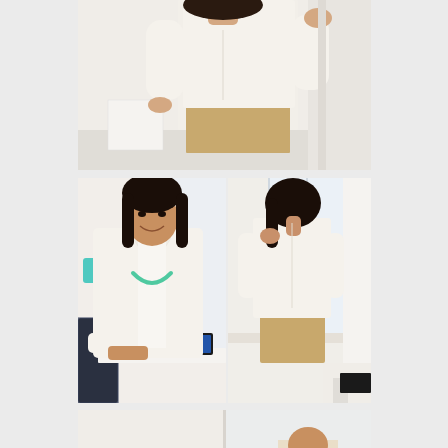[Figure (photo): A woman wearing a white top and gold/metallic shorts standing in a bright white room, photographed from waist up, raising one hand]
[Figure (photo): A smiling woman with dark hair wearing a white blazer and turquoise necklace, seated at a white table with a silver bowl and tablet]
[Figure (photo): A woman with dark hair viewed from behind/side wearing a white long-sleeve top and gold metallic shorts, standing near a bright window]
[Figure (photo): Bottom portion of a photo showing two people in a bright interior setting, partially visible]